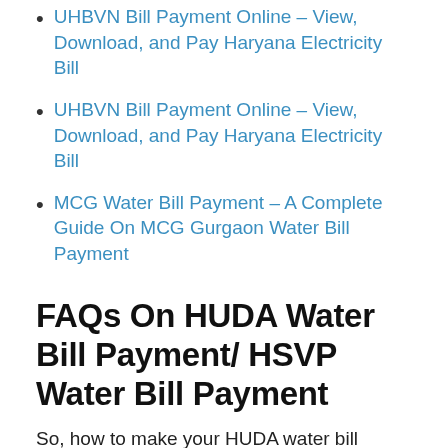UHBVN Bill Payment Online – View, Download, and Pay Haryana Electricity Bill
UHBVN Bill Payment Online – View, Download, and Pay Haryana Electricity Bill
MCG Water Bill Payment – A Complete Guide On MCG Gurgaon Water Bill Payment
FAQs On HUDA Water Bill Payment/ HSVP Water Bill Payment
So, how to make your HUDA water bill payment by credit card, debit card, or other payment methods?